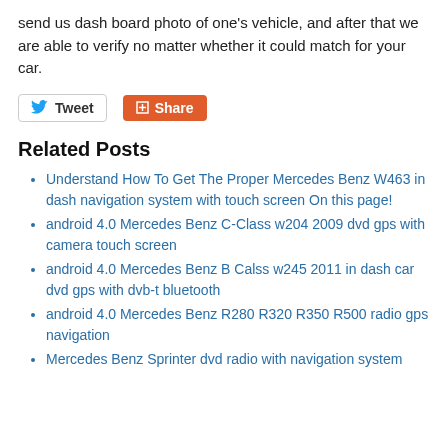send us dash board photo of one's vehicle, and after that we are able to verify no matter whether it could match for your car.
[Figure (other): Tweet and Share social media buttons]
Related Posts
Understand How To Get The Proper Mercedes Benz W463 in dash navigation system with touch screen On this page!
android 4.0 Mercedes Benz C-Class w204 2009 dvd gps with camera touch screen
android 4.0 Mercedes Benz B Calss w245 2011 in dash car dvd gps with dvb-t bluetooth
android 4.0 Mercedes Benz R280 R320 R350 R500 radio gps navigation
Mercedes Benz Sprinter dvd radio with navigation system